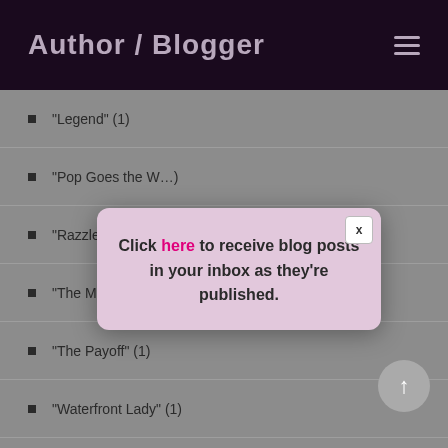Author / Blogger
"Legend" (1)
"Pop Goes the W..." (1)
"Razzle Dazzle: ...tory" (1)
"The Man Who B...e Carlo" (1)
"The Payoff" (1)
"Waterfront Lady" (1)
Belle Livingstone (1)
Bing Crosby (1)
[Figure (screenshot): Modal popup with pink/lavender background containing text: Click here to receive blog posts in your inbox as they're published. Has an X close button in upper right corner.]